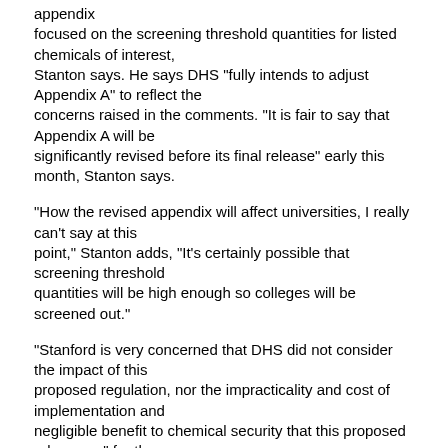appendix focused on the screening threshold quantities for listed chemicals of interest, Stanton says. He says DHS "fully intends to adjust Appendix A" to reflect the concerns raised in the comments. "It is fair to say that Appendix A will be significantly revised before its final release" early this month, Stanton says.
"How the revised appendix will affect universities, I really can't say at this point," Stanton adds, "It's certainly possible that screening threshold quantities will be high enough so colleges will be screened out."
"Stanford is very concerned that DHS did not consider the impact of this proposed regulation, nor the impracticality and cost of implementation and negligible benefit to chemical security that this proposed rule poses" for the academic sector, Gibbs says. As proposed, the appendix "would create a new and significant burden for colleges and universities and would divert scarce resources from actualized safety and security needs, as well as from research and teaching programs," he adds.
Barbara Ray, coordinator of hazardous materials in the University of Rhode Island's department of safety and risk, concurs. She says DHS would be better served by giving colleges and universities grants "to provide education...